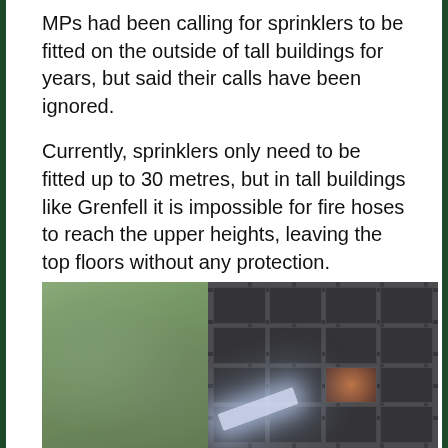MPs had been calling for sprinklers to be fitted on the outside of tall buildings for years, but said their calls have been ignored.
Currently, sprinklers only need to be fitted up to 30 metres, but in tall buildings like Grenfell it is impossible for fire hoses to reach the upper heights, leaving the top floors without any protection.
[Figure (photo): Photograph of the Grenfell Tower fire aftermath showing the burnt-out building facade with charred windows and a fire hose water jet visible at the bottom right, with trees visible on the left side]